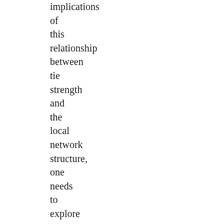implications of this relationship between tie strength and the local network structure, one needs to explore the network's ability to withstand the removal of either